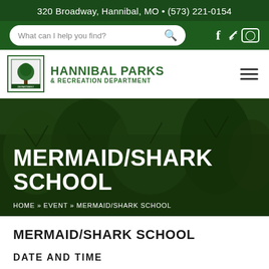320 Broadway, Hannibal, MO • (573) 221-0154
[Figure (logo): Hannibal Parks & Recreation Department logo with tree icon]
MERMAID/SHARK SCHOOL
HOME » EVENT » MERMAID/SHARK SCHOOL
MERMAID/SHARK SCHOOL
DATE AND TIME